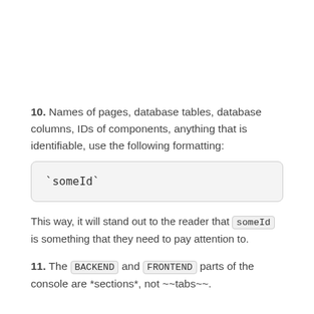10. Names of pages, database tables, database columns, IDs of components, anything that is identifiable, use the following formatting:
This way, it will stand out to the reader that someId is something that they need to pay attention to.
11. The BACKEND and FRONTEND parts of the console are *sections*, not ~~tabs~~.